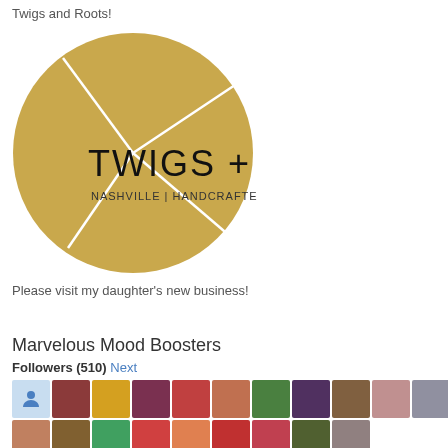Twigs and Roots!
[Figure (logo): Twigs + Roots logo: circular golden/tan pie-divided circle with text 'TWIGS + ROOTS' and 'NASHVILLE | HANDCRAFTED | NATURAL']
Please visit my daughter's new business!
Marvelous Mood Boosters
Followers (510) Next
[Figure (photo): Two rows of follower avatar thumbnails, approximately 11 per row]